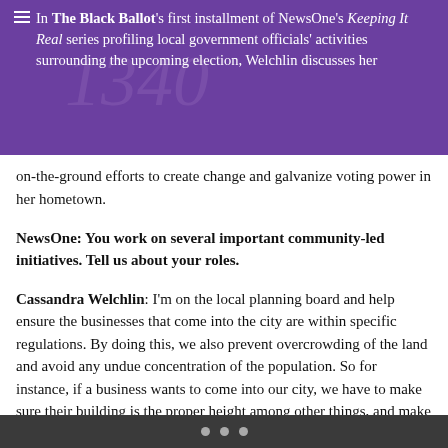In The Black Ballot's first installment of NewsOne's Keeping It Real series profiling local government officials' activities surrounding the upcoming election, Welchlin discusses her on-the-ground efforts to create change and galvanize voting power in her hometown.
NewsOne: You work on several important community-led initiatives. Tell us about your roles.
Cassandra Welchlin: I'm on the local planning board and help ensure the businesses that come into the city are within specific regulations. By doing this, we also prevent overcrowding of the land and avoid any undue concentration of the population. So for instance, if a business wants to come into our city, we have to make sure their building is the proper height among other things, and make sure if it's a liquor business, for example, it does not get placed within so many
• • •